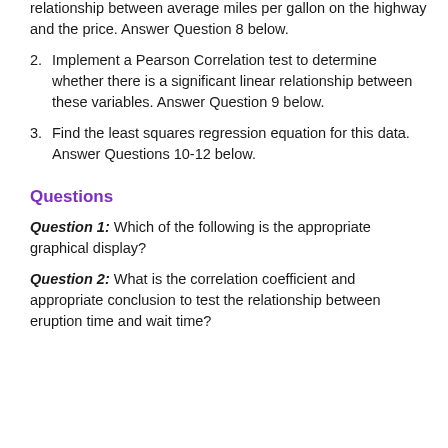relationship between average miles per gallon on the highway and the price. Answer Question 8 below.
2. Implement a Pearson Correlation test to determine whether there is a significant linear relationship between these variables. Answer Question 9 below.
3. Find the least squares regression equation for this data. Answer Questions 10-12 below.
Questions
Question 1: Which of the following is the appropriate graphical display?
Question 2: What is the correlation coefficient and appropriate conclusion to test the relationship between eruption time and wait time?